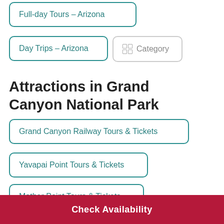Full-day Tours - Arizona
Day Trips - Arizona
Category
Attractions in Grand Canyon National Park
Grand Canyon Railway Tours & Tickets
Yavapai Point Tours & Tickets
Mather Point Tours & Tickets
Check Availability